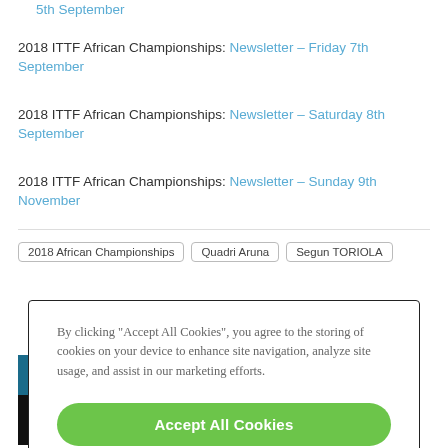2018 ITTF African Championships: Newsletter – Friday 7th September
2018 ITTF African Championships: Newsletter – Saturday 8th September
2018 ITTF African Championships: Newsletter – Sunday 9th November
2018 African Championships  Quadri Aruna  Segun TORIOLA
By clicking "Accept All Cookies", you agree to the storing of cookies on your device to enhance site navigation, analyze site usage, and assist in our marketing efforts.